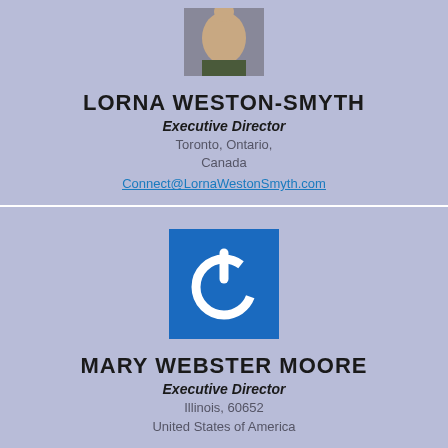[Figure (photo): Profile photo of Lorna Weston-Smyth, partially visible at top of page]
LORNA WESTON-SMYTH
Executive Director
Toronto, Ontario, Canada
Connect@LornaWestonSmyth.com
[Figure (logo): Blue square with white power button icon]
MARY WEBSTER MOORE
Executive Director
Illinois, 60652
United States of America
[Figure (logo): Blue square with white power button icon, partially visible at bottom]